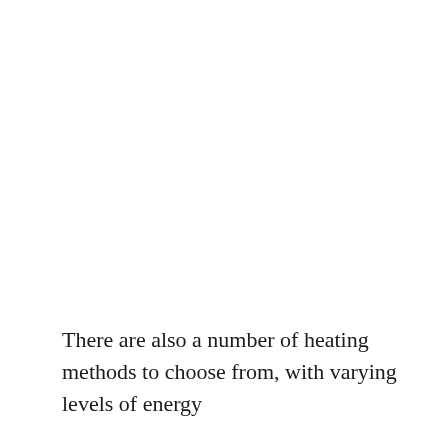There are also a number of heating methods to choose from, with varying levels of energy